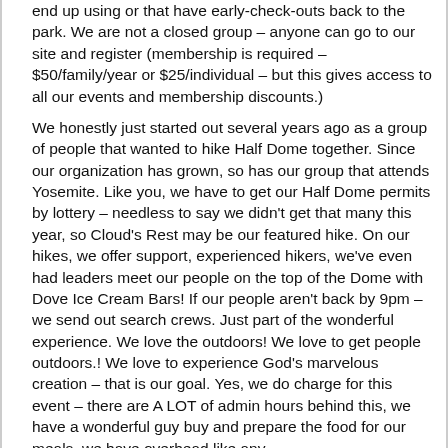end up using or that have early-check-outs back to the park. We are not a closed group – anyone can go to our site and register (membership is required – $50/family/year or $25/individual – but this gives access to all our events and membership discounts.)
We honestly just started out several years ago as a group of people that wanted to hike Half Dome together. Since our organization has grown, so has our group that attends Yosemite. Like you, we have to get our Half Dome permits by lottery – needless to say we didn't get that many this year, so Cloud's Rest may be our featured hike. On our hikes, we offer support, experienced hikers, we've even had leaders meet our people on the top of the Dome with Dove Ice Cream Bars! If our people aren't back by 9pm – we send out search crews. Just part of the wonderful experience. We love the outdoors! We love to get people outdoors.! We love to experience God's marvelous creation – that is our goal. Yes, we do charge for this event – there are A LOT of admin hours behind this, we have a wonderful guy buy and prepare the food for our meals, we have overhead like any